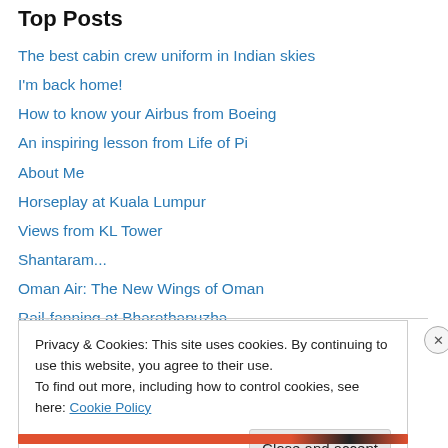Top Posts
The best cabin crew uniform in Indian skies
I'm back home!
How to know your Airbus from Boeing
An inspiring lesson from Life of Pi
About Me
Horseplay at Kuala Lumpur
Views from KL Tower
Shantaram...
Oman Air: The New Wings of Oman
Rail-fanning at Bharathapuzha
Privacy & Cookies: This site uses cookies. By continuing to use this website, you agree to their use. To find out more, including how to control cookies, see here: Cookie Policy
Close and accept